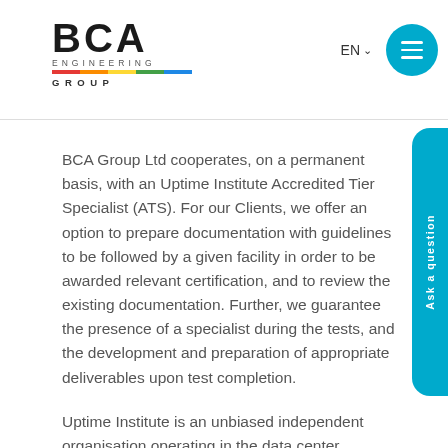[Figure (logo): BCA Engineering Group logo with rainbow bar and text]
BCA Group Ltd cooperates, on a permanent basis, with an Uptime Institute Accredited Tier Specialist (ATS). For our Clients, we offer an option to prepare documentation with guidelines to be followed by a given facility in order to be awarded relevant certification, and to review the existing documentation. Further, we guarantee the presence of a specialist during the tests, and the development and preparation of appropriate deliverables upon test completion.
Uptime Institute is an unbiased independent organisation operating in the data center research, education and advisory sector which in